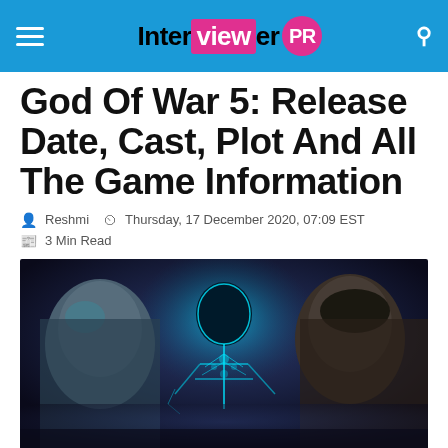Interviewer PR
God Of War 5: Release Date, Cast, Plot And All The Game Information
Reshmi  Thursday, 17 December 2020, 07:09 EST
3 Min Read
[Figure (photo): God of War 5 promotional image showing two characters — a bald muscular man on the left and a dark-haired man on the right, with a glowing skeletal/mechanical figure in the center background]